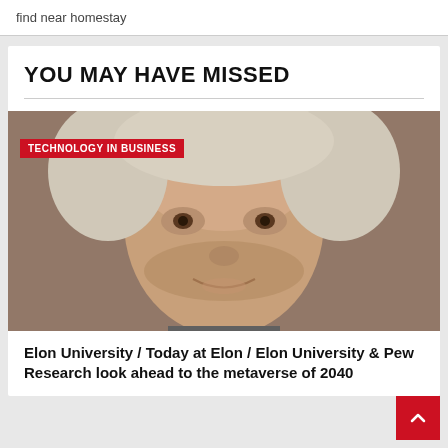find near homestay
YOU MAY HAVE MISSED
[Figure (photo): Close-up headshot of a smiling woman with short blonde/white hair, with a red 'TECHNOLOGY IN BUSINESS' category badge overlaid in the upper-left of the image.]
Elon University / Today at Elon / Elon University & Pew Research look ahead to the metaverse of 2040